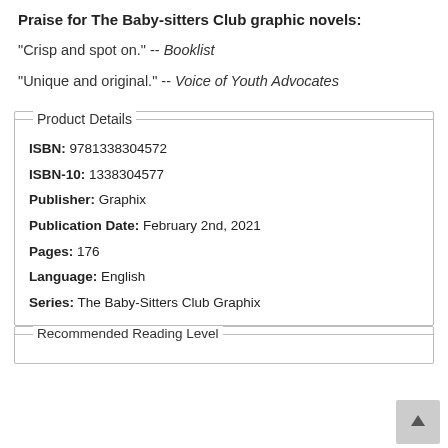Praise for The Baby-sitters Club graphic novels:
"Crisp and spot on." -- Booklist
"Unique and original." -- Voice of Youth Advocates
| ISBN: | 9781338304572 |
| ISBN-10: | 1338304577 |
| Publisher: | Graphix |
| Publication Date: | February 2nd, 2021 |
| Pages: | 176 |
| Language: | English |
| Series: | The Baby-Sitters Club Graphix |
Recommended Reading Level